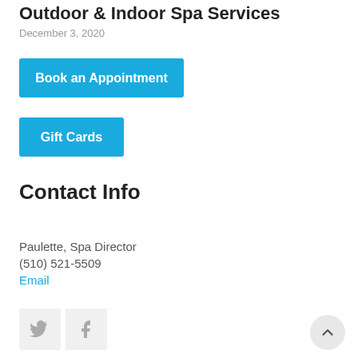Outdoor & Indoor Spa Services
December 3, 2020
Book an Appointment
Gift Cards
Contact Info
Paulette, Spa Director
(510) 521-5509
Email